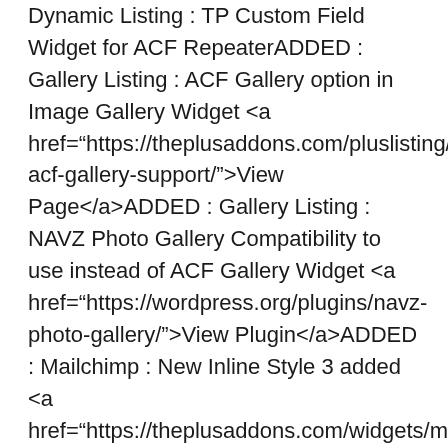Dynamic Listing : TP Custom Field Widget for ACF RepeaterADDED : Gallery Listing : ACF Gallery option in Image Gallery Widget <a href="https://theplusaddons.com/pluslisting/elementor-acf-gallery-support/">View Page</a>ADDED : Gallery Listing : NAVZ Photo Gallery Compatibility to use instead of ACF Gallery Widget <a href="https://wordpress.org/plugins/navz-photo-gallery/">View Plugin</a>ADDED : Mailchimp : New Inline Style 3 added <a href="https://theplusaddons.com/widgets/mailchimp/">View Page</a>ADDED : Mailchimp : First & Last Name, Birth Date & Month, Phone field added in style 3ADDED : Hotspot : Animation Stagger optionADDED : Advanced Typography : On Hover Image Reveal optionADDED :